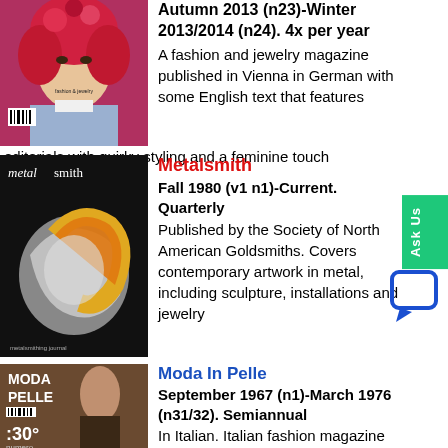[Figure (photo): Magazine cover with woman with red hair in decorative outfit]
Autumn 2013 (n23)-Winter 2013/2014 (n24). 4x per year
A fashion and jewelry magazine published in Vienna in German with some English text that features editorials with quirky styling and a feminine touch
[Figure (photo): Metalsmith magazine cover with metallic jewelry sculpture]
Metalsmith
Fall 1980 (v1 n1)-Current. Quarterly
Published by the Society of North American Goldsmiths. Covers contemporary artwork in metal, including sculpture, installations and jewelry
[Figure (photo): Moda In Pelle magazine cover showing woman in fur coat - issue 30]
Moda In Pelle
September 1967 (n1)-March 1976 (n31/32). Semiannual
In Italian. Italian fashion magazine focused on footwear and handbags